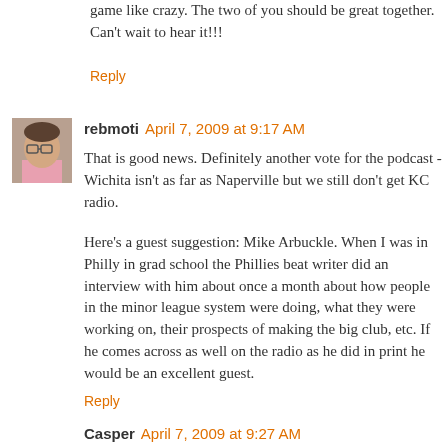game like crazy. The two of you should be great together. Can't wait to hear it!!!
Reply
[Figure (photo): Avatar photo of user rebmoti - person with glasses in pink shirt]
rebmoti  April 7, 2009 at 9:17 AM
That is good news. Definitely another vote for the podcast - Wichita isn't as far as Naperville but we still don't get KC radio.
Here's a guest suggestion: Mike Arbuckle. When I was in Philly in grad school the Phillies beat writer did an interview with him about once a month about how people in the minor league system were doing, what they were working on, their prospects of making the big club, etc. If he comes across as well on the radio as he did in print he would be an excellent guest.
Reply
Casper  April 7, 2009 at 9:27 AM